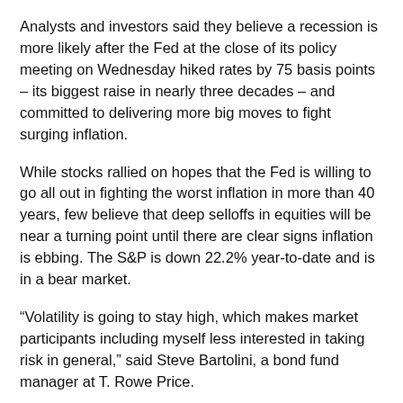Analysts and investors said they believe a recession is more likely after the Fed at the close of its policy meeting on Wednesday hiked rates by 75 basis points – its biggest raise in nearly three decades – and committed to delivering more big moves to fight surging inflation.
While stocks rallied on hopes that the Fed is willing to go all out in fighting the worst inflation in more than 40 years, few believe that deep selloffs in equities will be near a turning point until there are clear signs inflation is ebbing. The S&P is down 22.2% year-to-date and is in a bear market.
“Volatility is going to stay high, which makes market participants including myself less interested in taking risk in general,” said Steve Bartolini, a bond fund manager at T. Rowe Price.
Wednesday’s rate hike was accompanied by a downgrade to the Fed's economic outlook, with growth now seen slowing to a below-trend 1.7% rate this year. Analysts have been debating whether the Fed will hit a "hard landing" by putting the economy into recession as it hikes rates, or whether it can dampen inflation while slowing growth, meaning a "soft landing."